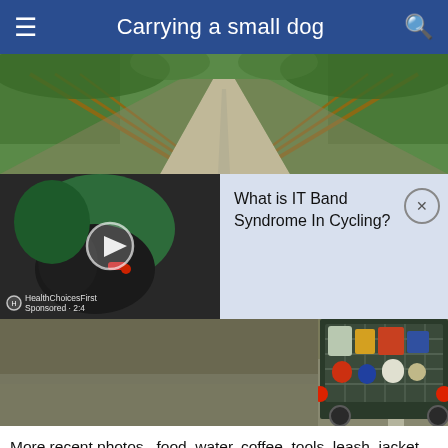Carrying a small dog
[Figure (photo): A paved path receding into the distance flanked by wooden fences and green trees]
[Figure (screenshot): Mobile app page showing cycling photo with video play button and HealthChoicesFirst watermark, with popup overlay reading 'What is IT Band Syndrome In Cycling?' with close button]
[Figure (photo): Rear view of a bike trailer/cart loaded with food, water, coffee, tools on a paved trail]
More recent photos...food, water, coffee, tools, leash, jacket,